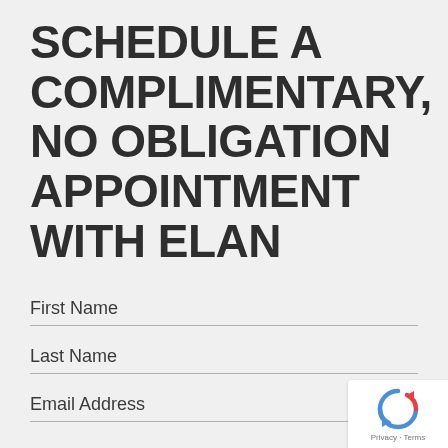SCHEDULE A COMPLIMENTARY, NO OBLIGATION APPOINTMENT WITH ELAN
First Name
Last Name
Email Address